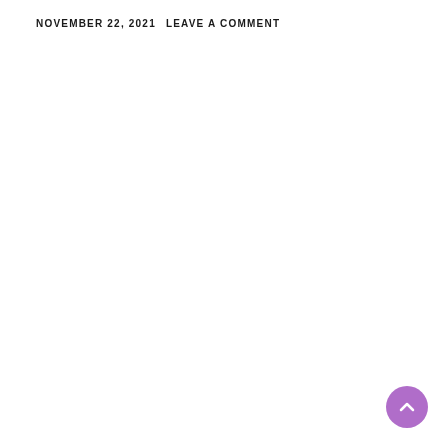NOVEMBER 22, 2021 LEAVE A COMMENT